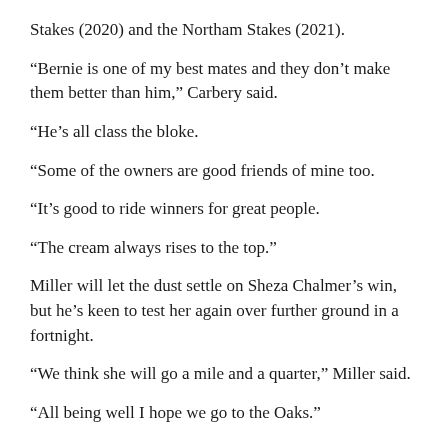Stakes (2020) and the Northam Stakes (2021).
“Bernie is one of my best mates and they don’t make them better than him,” Carbery said.
“He’s all class the bloke.
“Some of the owners are good friends of mine too.
“It’s good to ride winners for great people.
“The cream always rises to the top.”
Miller will let the dust settle on Sheza Chalmer’s win, but he’s keen to test her again over further ground in a fortnight.
“We think she will go a mile and a quarter,” Miller said.
“All being well I hope we go to the Oaks.”